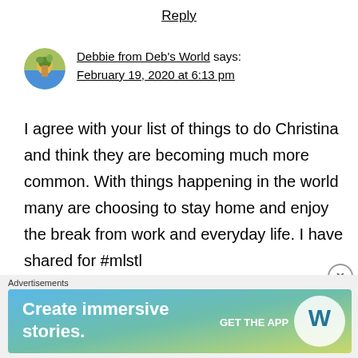Reply
Debbie from Deb's World says:
February 19, 2020 at 6:13 pm
I agree with your list of things to do Christina and think they are becoming much more common. With things happening in the world many are choosing to stay home and enjoy the break from work and everyday life. I have shared for #mlstl
[Figure (infographic): WordPress advertisement banner: 'Create immersive stories. GET THE APP' with WordPress logo on gradient blue/green background]
Advertisements